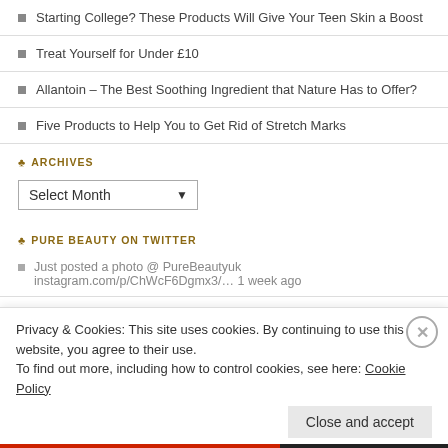Starting College? These Products Will Give Your Teen Skin a Boost
Treat Yourself for Under £10
Allantoin – The Best Soothing Ingredient that Nature Has to Offer?
Five Products to Help You to Get Rid of Stretch Marks
ARCHIVES
Select Month
PURE BEAUTY ON TWITTER
Just posted a photo @ PureBeautyuk instagram.com/p/ChWcF6Dgmx3/… 1 week ago
Just posted a photo @ PureBeautyuk instagram.com/p/ChST25PLSJt/… 2 weeks ago
Privacy & Cookies: This site uses cookies. By continuing to use this website, you agree to their use.
To find out more, including how to control cookies, see here: Cookie Policy
Close and accept